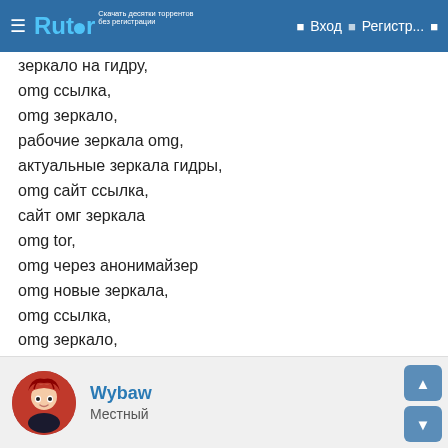Rutor | Вход | Регистр...
зеркало на гидру,
omg ссылка,
omg зеркало,
рабочие зеркала omg,
актуальные зеркала гидры,
omg сайт ссылка,
сайт омг зеркала
omg tor,
omg через анонимайзер
omg новые зеркала,
omg ссылка,
omg зеркало,
рабочие зеркала omg,
актуальные зеркала гидры
Wybaw — Местный